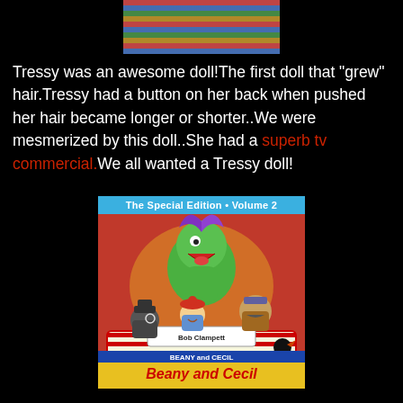[Figure (photo): Partial photo of a Tressy doll wearing a colorful striped outfit, cropped at the top of the page]
Tressy was an awesome doll!The first doll that "grew" hair.Tressy had a button on her back when pushed her hair became longer or shorter..We were mesmerized by this doll..She had a superb tv commercial.We all wanted a Tressy doll!
[Figure (photo): DVD cover for Beany and Cecil The Special Edition Volume 2, featuring colorful cartoon characters including a green sea serpent, a boy in a beanie hat, and other characters in a boat. Credits Bob Clampett. Title reads 'Beany and Cecil' at the bottom.]